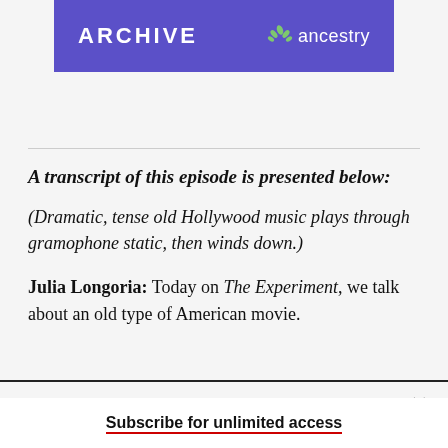ARCHIVE  ancestry
A transcript of this episode is presented below:
(Dramatic, tense old Hollywood music plays through gramophone static, then winds down.)
Julia Longoria: Today on The Experiment, we talk about an old type of American movie.
Subscribe for unlimited access